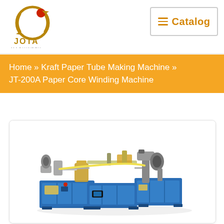JOTA MACHINERY | Catalog
Home » Kraft Paper Tube Making Machine » JT-200A Paper Core Winding Machine
[Figure (photo): JT-200A Paper Core Winding Machine — a blue and grey industrial paper tube winding machine with multiple rollers and winding arms, shown in a product photograph from an elevated angle.]